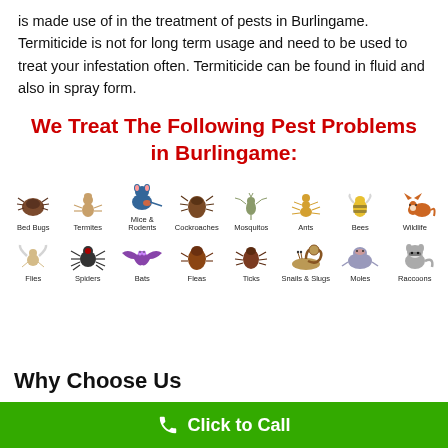is made use of in the treatment of pests in Burlingame. Termiticide is not for long term usage and need to be used to treat your infestation often. Termiticide can be found in fluid and also in spray form.
We Treat The Following Pest Problems in Burlingame:
[Figure (illustration): Grid of 16 pest icons in 2 rows: Bed Bugs, Termites, Mice & Rodents, Cockroaches, Mosquitos, Ants, Bees, Wildlife (top row); Flies, Spiders, Bats, Fleas, Ticks, Snails & Slugs, Moles, Raccoons (bottom row)]
Why Choose Us
1. Expertise with residential and commercial pest
Click to Call